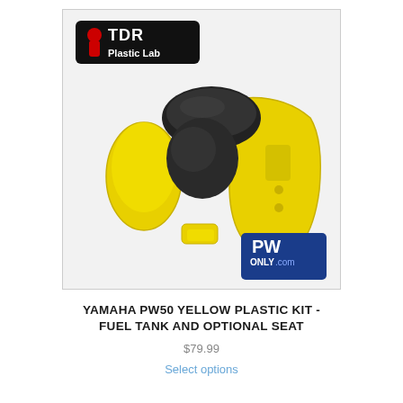[Figure (photo): Product photo of Yamaha PW50 Yellow Plastic Kit including yellow fenders, yellow side panels, black seat, and other parts. TDR Plastic Lab logo in top left. PW Only .com logo in bottom right of image.]
YAMAHA PW50 Yellow Plastic Kit -Fuel Tank and Optional Seat
$79.99
Select options